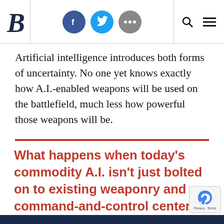Brookings Institution website header with logo, social icons (Facebook, Twitter, more), search and menu icons
Artificial intelligence introduces both forms of uncertainty. No one yet knows exactly how A.I.-enabled weapons will be used on the battlefield, much less how powerful those weapons will be.
What happens when today’s commodity A.I. isn’t just bolted on to existing weaponry and command-and-control centers, but baked into them from the bottom up?